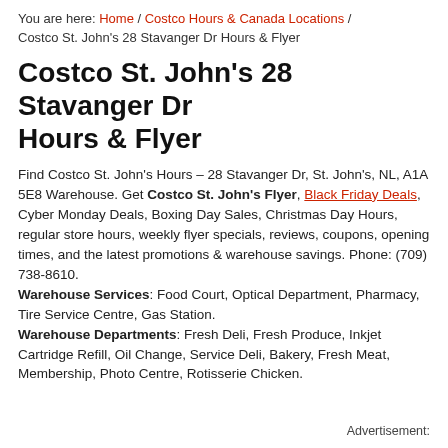You are here: Home / Costco Hours & Canada Locations / Costco St. John's 28 Stavanger Dr Hours & Flyer
Costco St. John's 28 Stavanger Dr Hours & Flyer
Find Costco St. John's Hours – 28 Stavanger Dr, St. John's, NL, A1A 5E8 Warehouse. Get Costco St. John's Flyer, Black Friday Deals, Cyber Monday Deals, Boxing Day Sales, Christmas Day Hours, regular store hours, weekly flyer specials, reviews, coupons, opening times, and the latest promotions & warehouse savings. Phone: (709) 738-8610. Warehouse Services: Food Court, Optical Department, Pharmacy, Tire Service Centre, Gas Station. Warehouse Departments: Fresh Deli, Fresh Produce, Inkjet Cartridge Refill, Oil Change, Service Deli, Bakery, Fresh Meat, Membership, Photo Centre, Rotisserie Chicken.
Advertisement: